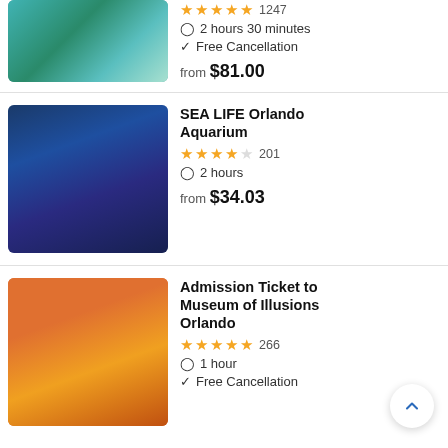[Figure (photo): Person kayaking in clear turquoise water]
★★★★★ 1247
⏱ 2 hours 30 minutes
✓ Free Cancellation
from $81.00
SEA LIFE Orlando Aquarium
[Figure (photo): Couple looking up inside an aquarium tunnel with fish overhead]
★★★★☆ 201
⏱ 2 hours
from $34.03
Admission Ticket to Museum of Illusions Orlando
[Figure (photo): Visitors in a gravity-defying room at Museum of Illusions]
★★★★★ 266
⏱ 1 hour
✓ Free Cancellation